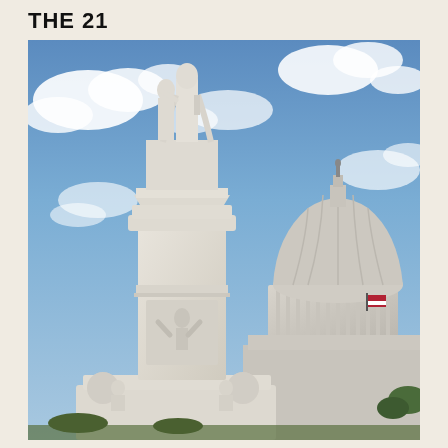THE 21...
[Figure (photo): Photograph of the Peace Monument (Naval Monument) with classical marble statues on a tall pedestal in the foreground, and the US Capitol building dome visible in the background, under a partly cloudy blue sky.]